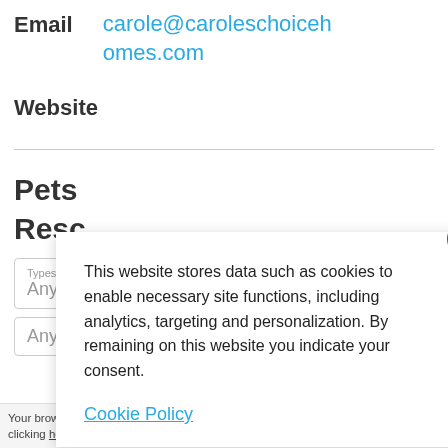Email   carole@caroleschoicehomes.com
Website
Pets
Reso
This website stores data such as cookies to enable necessary site functions, including analytics, targeting and personalization. By remaining on this website you indicate your consent.
Cookie Policy
Your browser settings d... AdRoll to use cross-site... by clicking here. This message only appears once.